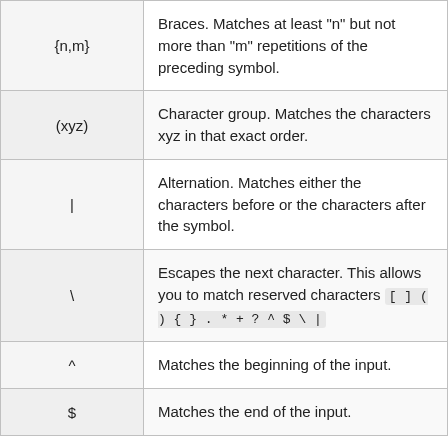| Symbol | Description |
| --- | --- |
| {n,m} | Braces. Matches at least "n" but not more than "m" repetitions of the preceding symbol. |
| (xyz) | Character group. Matches the characters xyz in that exact order. |
| | | Alternation. Matches either the characters before or the characters after the symbol. |
| \ | Escapes the next character. This allows you to match reserved characters [ ] ( ) { } . * + ? ^ $ \ | |
| ^ | Matches the beginning of the input. |
| $ | Matches the end of the input. |